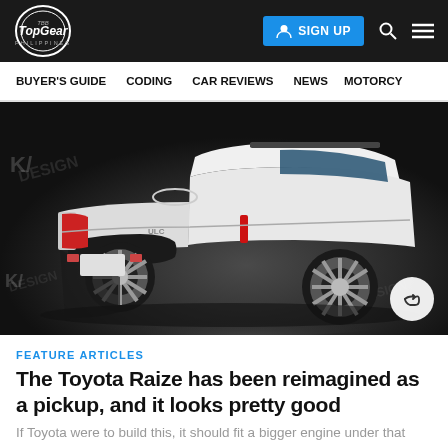Top Gear Philippines — SIGN UP
BUYER'S GUIDE   CODING   CAR REVIEWS   NEWS   MOTORCY
[Figure (photo): Rear three-quarter view render of a white Toyota Raize reimagined as a pickup truck on a dark studio background with watermark design elements]
FEATURE ARTICLES
The Toyota Raize has been reimagined as a pickup, and it looks pretty good
If Toyota were to build this, it should fit a bigger engine under that hood
Converting a full-size SUV into a pickup-like what these